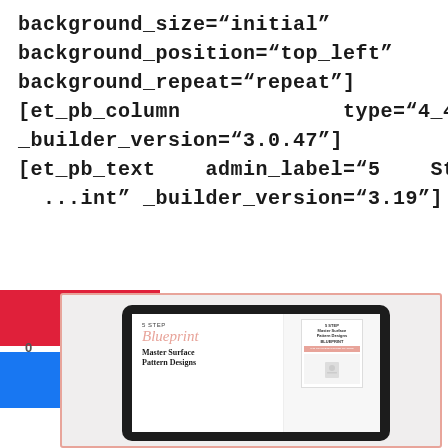background_size="initial"
background_position="top_left"
background_repeat="repeat"]
[et_pb_column         type="4_4"
_builder_version="3.0.47"]
[et_pb_text    admin_label="5   Step
...int" _builder_version="3.19"]
[Figure (screenshot): Pinterest and Facebook share buttons overlay with 0 shares count]
[Figure (screenshot): Tablet device showing '5 STEP Blueprint Master Surface Pattern Designs' ebook cover, with a smaller thumbnail of the same on the right side]